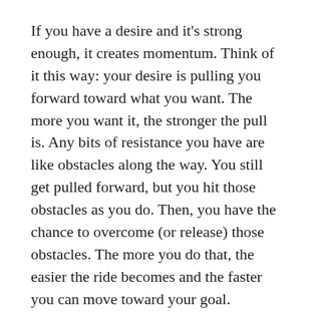If you have a desire and it's strong enough, it creates momentum. Think of it this way: your desire is pulling you forward toward what you want. The more you want it, the stronger the pull is. Any bits of resistance you have are like obstacles along the way. You still get pulled forward, but you hit those obstacles as you do. Then, you have the chance to overcome (or release) those obstacles. The more you do that, the easier the ride becomes and the faster you can move toward your goal.
If your desire is strong enough, you will eventually reach it, even if you have massive resistance. It's just going to be a very bumpy